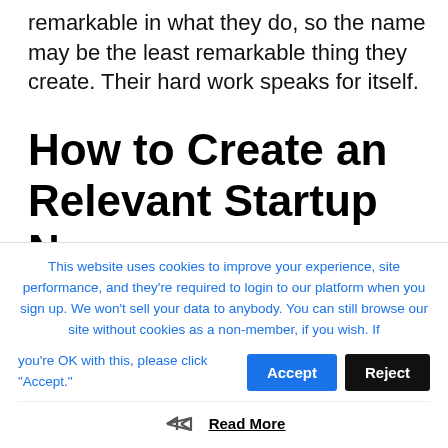remarkable in what they do, so the name may be the least remarkable thing they create. Their hard work speaks for itself.
How to Create an Relevant Startup Name
The Process for Naming a
This website uses cookies to improve your experience, site performance, and they're required to login to our platform when you sign up. We won't sell your data to anybody. You can still browse our site without cookies as a non-member, if you wish. If you're OK with this, please click "Accept."
Read More